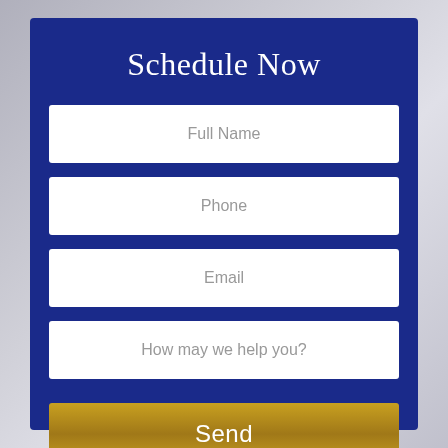Schedule Now
Full Name
Phone
Email
How may we help you?
Send